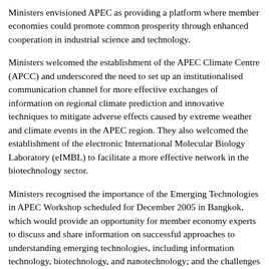Ministers envisioned APEC as providing a platform where member economies could promote common prosperity through enhanced cooperation in industrial science and technology.
Ministers welcomed the establishment of the APEC Climate Centre (APCC) and underscored the need to set up an institutionalised communication channel for more effective exchanges of information on regional climate prediction and innovative techniques to mitigate adverse effects caused by extreme weather and climate events in the APEC region. They also welcomed the establishment of the electronic International Molecular Biology Laboratory (eIMBL) to facilitate a more effective network in the biotechnology sector.
Ministers recognised the importance of the Emerging Technologies in APEC Workshop scheduled for December 2005 in Bangkok, which would provide an opportunity for member economy experts to discuss and share information on successful approaches to understanding emerging technologies, including information technology, biotechnology, and nanotechnology; and the challenges faced by domestic and organisational innovation systems in nurturing investment, capacity, development, and commercialisation of such technologies.
Ministers welcomed the outcome of the APEC Biotechnology